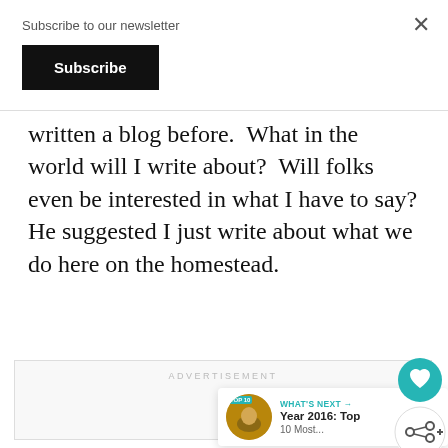Subscribe to our newsletter
Subscribe
×
written a blog before.  What in the world will I write about?  Will folks even be interested in what I have to say? He suggested I just write about what we do here on the homestead.
ADVERTISEMENT
[Figure (other): Heart/like button (teal circle with heart icon) and share button (white circle with share icon)]
WHAT'S NEXT → Year 2016: Top 10 Most...